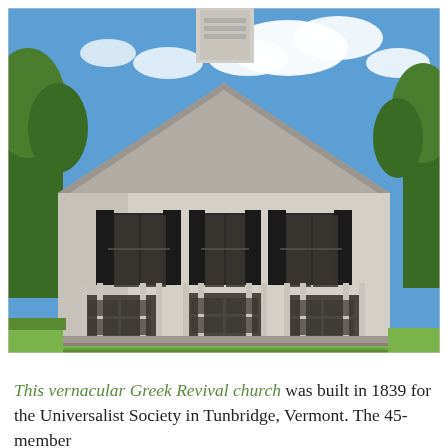[Figure (photo): Exterior photograph of a white vernacular Greek Revival church building in Tunbridge, Vermont. The church has a triangular gabled facade, a steeple visible at the top, three entrance doors with columns at the base, two rows of windows with dark shutters, and is surrounded by green grass and trees under a blue sky with clouds.]
This vernacular Greek Revival church was built in 1839 for the Universalist Society in Tunbridge, Vermont. The 45-member